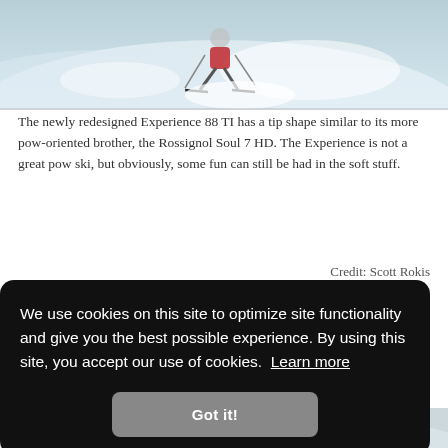[Figure (photo): Skier in powder snow, partially visible at the top of the page]
The newly redesigned Experience 88 TI has a tip shape similar to its more pow-oriented brother, the Rossignol Soul 7 HD. The Experience is not a great pow ski, but obviously, some fun can still be had in the soft stuff.
Credit: Scott Rokis
Powder
Rossignol changed the shape of the tips in the Experience
We use cookies on this site to optimize site functionality and give you the best possible experience. By using this site, you accept our use of cookies. Learn more
[Figure (photo): Partial photo visible at the bottom of the page, snowy scene]